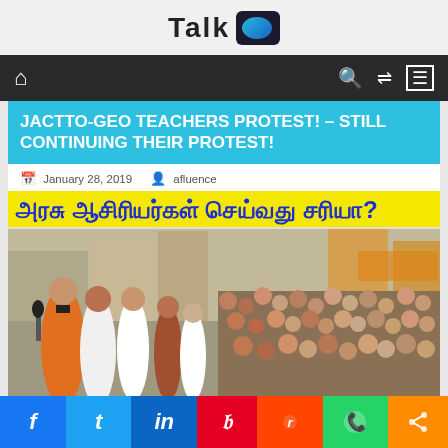Talk
[Figure (screenshot): Navigation bar with home icon, search icon, shuffle icon, and hamburger menu on dark background]
JACTTO-GEO TEACHERS PROTEST! – STILL CONTINUING THEIR PROTEST!
January 28, 2019   afluence
[Figure (photo): Large crowd of teachers protesting on a street. Tamil text overlay at top reads: அரசு ஆசிரியர்கள் செய்வது சரியா? (Is what government teachers are doing right?). Yellow banner background behind Tamil text.]
f  t  in  p  reddit  WhatsApp  share